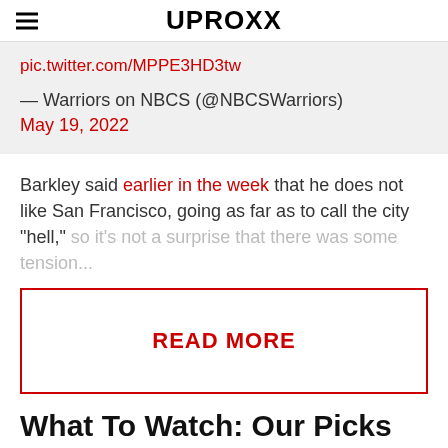UPROXX
pic.twitter.com/MPPE3HD3tw
— Warriors on NBCS (@NBCSWarriors) May 19, 2022
Barkley said earlier in the week that he does not like San Francisco, going as far as to call the city "hell," so it's not a surprise that there was some tension...
READ MORE
What To Watch: Our Picks For The Ten Movies We Think You Should